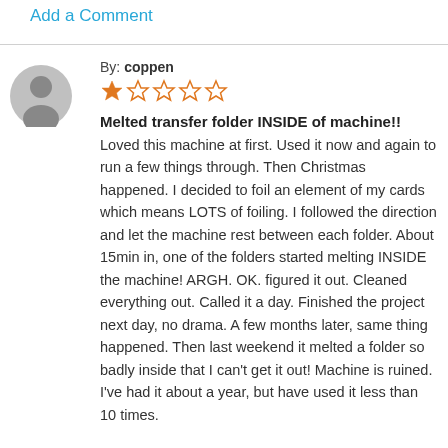Add a Comment
By: coppen
1 out of 5 stars
Melted transfer folder INSIDE of machine!!
Loved this machine at first. Used it now and again to run a few things through. Then Christmas happened. I decided to foil an element of my cards which means LOTS of foiling. I followed the direction and let the machine rest between each folder. About 15min in, one of the folders started melting INSIDE the machine! ARGH. OK. figured it out. Cleaned everything out. Called it a day. Finished the project next day, no drama. A few months later, same thing happened. Then last weekend it melted a folder so badly inside that I can't get it out! Machine is ruined. I've had it about a year, but have used it less than 10 times.